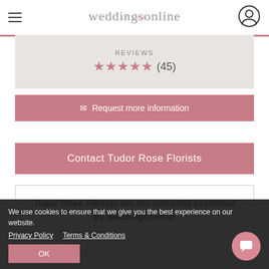weddingsonline
REVIEWS ★★★★★ (45)
✉ Request more information
Contact Tudor Rose Florists
Tudor Rose Florists are not currently promoted by weddingsonline
We use cookies to ensure that we give you the best experience on our website.
Privacy Policy  Terms & Conditions
OK